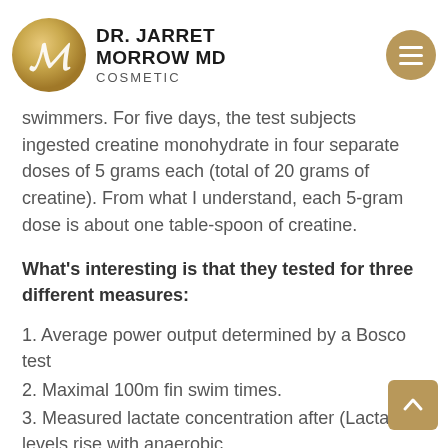Dr. Jarret Morrow MD Cosmetic
swimmers. For five days, the test subjects ingested creatine monohydrate in four separate doses of 5 grams each (total of 20 grams of creatine). From what I understand, each 5-gram dose is about one table-spoon of creatine.
What's interesting is that they tested for three different measures:
1. Average power output determined by a Bosco test
2. Maximal 100m fin swim times.
3. Measured lactate concentration after (Lactate levels rise with anaerobic exercise as a by-product of metabolism)